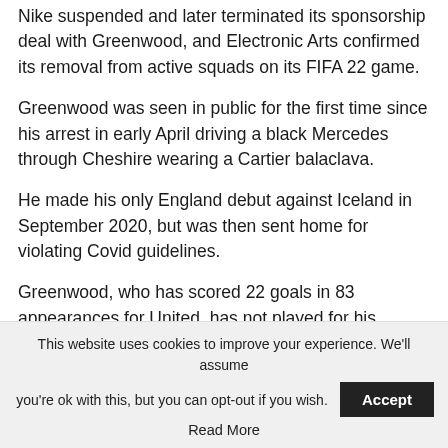Nike suspended and later terminated its sponsorship deal with Greenwood, and Electronic Arts confirmed its removal from active squads on its FIFA 22 game.
Greenwood was seen in public for the first time since his arrest in early April driving a black Mercedes through Cheshire wearing a Cartier balaclava.
He made his only England debut against Iceland in September 2020, but was then sent home for violating Covid guidelines.
Greenwood, who has scored 22 goals in 83 appearances for United, has not played for his country since.
His last appearance for the club came in a 1-0 win against West Ham on 22 January.
This website uses cookies to improve your experience. We'll assume you're ok with this, but you can opt-out if you wish. Accept
Read More